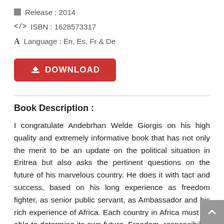Release : 2014
ISBN : 1628573317
Language : En, Es, Fr & De
[Figure (other): Red DOWNLOAD button with download icon]
Book Description :
I congratulate Andebrhan Welde Giorgis on his high quality and extremely informative book that has not only the merit to be an update on the political situation in Eritrea but also asks the pertinent questions on the future of his marvelous country. He does it with tact and success, based on his long experience as freedom fighter, as senior public servant, as Ambassador and his rich experience of Africa. Each country in Africa must be able to determine its own future. Freedom, responsibility, control over its destiny, and solidarity, are the key ideas of the new vision for international